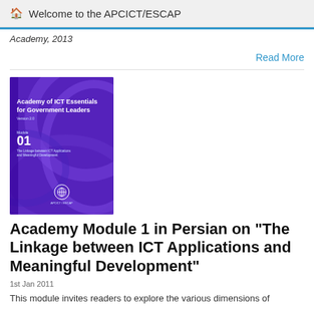Welcome to the APCICT/ESCAP
Academy, 2013
Read More
[Figure (photo): Book cover of Academy of ICT Essentials for Government Leaders, Module 01, The Linkage between ICT Applications and Meaningful Development]
Academy Module 1 in Persian on "The Linkage between ICT Applications and Meaningful Development"
1st Jan 2011
This module invites readers to explore the various dimensions of